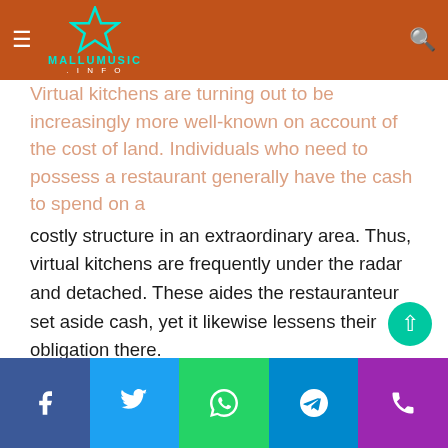MALLUMUSIC.INFO
Virtual kitchens are turning out to be increasingly more well-known on account of the cost of land. Individuals who need to possess a restaurant generally have the cash to spend on a costly structure in an extraordinary area. Thus, virtual kitchens are frequently under the radar and detached. These aides the restauranteur set aside cash, yet it likewise lessens their obligation there.
Computerized Advertising Force
With buyers investing more energy processing on the web content, advanced showcasing is the way into a fruitful online eatery. Virtual kitchens can zero in their promoting endeavors on computerized since they don't have to carry clients to their actual retail facade.
Facebook Twitter WhatsApp Telegram Phone